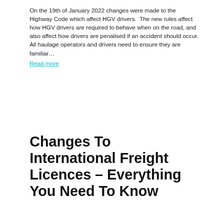On the 19th of January 2022 changes were made to the Highway Code which affect HGV drivers.  The new rules affect how HGV drivers are required to behave when on the road, and also affect how drivers are penalised if an accident should occur. All haulage operators and drivers need to ensure they are familiar…
Read more
Changes To International Freight Licences – Everything You Need To Know